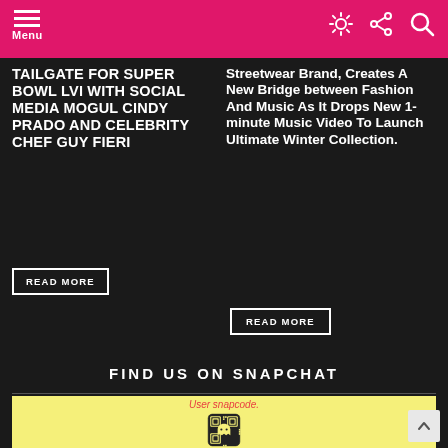Menu
TAILGATE FOR SUPER BOWL LVI WITH SOCIAL MEDIA MOGUL CINDY PRADO AND CELEBRITY CHEF GUY FIERI
READ MORE
Streetwear Brand, Creates A New Bridge between Fashion And Music As It Drops New 1-minute Music Video To Launch Ultimate Winter Collection.
READ MORE
FIND US ON SNAPCHAT
[Figure (illustration): Snapchat snapcode QR code image with ghost logo on yellow background]